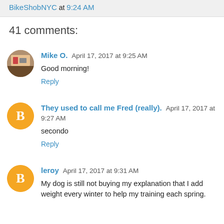BikeShobNYC at 9:24 AM
41 comments:
Mike O.  April 17, 2017 at 9:25 AM
Good morning!
Reply
They used to call me Fred (really).  April 17, 2017 at 9:27 AM
secondo
Reply
leroy  April 17, 2017 at 9:31 AM
My dog is still not buying my explanation that I add weight every winter to help my training each spring.